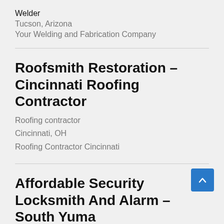Welder
Tucson, Arizona
Your Welding and Fabrication Company
Roofsmith Restoration – Cincinnati Roofing Contractor
Roofing contractor
Cincinnati, OH
Roofing Contractor Cincinnati
Affordable Security Locksmith And Alarm – South Yuma
Locksmith